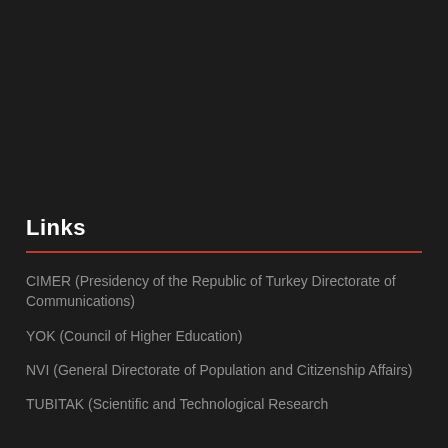Links
CIMER (Presidency of the Republic of Turkey Directorate of Communications)
YOK (Council of Higher Education)
NVI (General Directorate of Population and Citizenship Affairs)
TUBITAK (Scientific and Technological Research